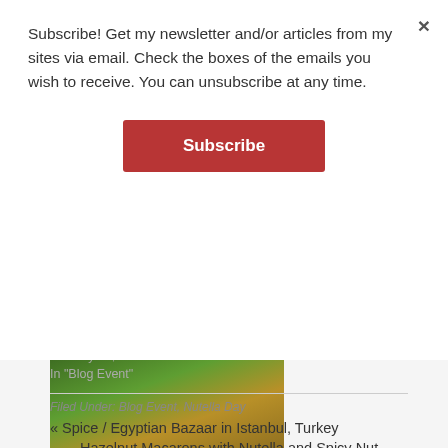Subscribe! Get my newsletter and/or articles from my sites via email. Check the boxes of the emails you wish to receive. You can unsubscribe at any time.
Subscribe
[Figure (photo): Partial view of fresh fruit image (green and yellow tones)]
Fresh Fruit and Nutella for World Nutella Day
January 29, 2008
In "Blog Event"
Filed Under: Blog Event, Nutella Day
« Spice / Egyptian Bazaar in Istanbul, Turkey
Hazelnut Macarons with Nutella and Spicy Nut Centers for World Nutella Day »